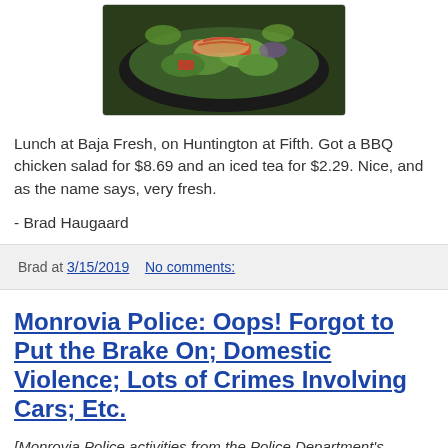[Figure (photo): A BBQ chicken salad in a black bowl/plate, seen from above, with colorful toppings including greens, red tomatoes, and grilled chicken with sauce drizzle.]
Lunch at Baja Fresh, on Huntington at Fifth. Got a BBQ chicken salad for $8.69 and an iced tea for $2.29. Nice, and as the name says, very fresh.
- Brad Haugaard
Brad at 3/15/2019    No comments:
Monrovia Police: Oops! Forgot to Put the Brake On; Domestic Violence; Lots of Crimes Involving Cars; Etc.
[Monrovia Police activities from the Police Department's